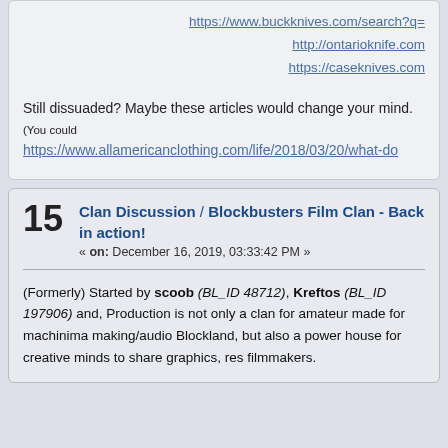https://www.buckknives.com/search?q=
http://ontarioknife.com
https://caseknives.com
Still dissuaded? Maybe these articles would change your mind. (You could https://www.allamericanclothing.com/life/2018/03/20/what-do...
15  Clan Discussion / Blockbusters Film Clan - Back in action!
« on: December 16, 2019, 03:33:42 PM »
(Formerly) Started by scoob (BL_ID 48712), Kreftos (BL_ID 197906) and, Production is not only a clan for amateur made for machinima making/audio Blockland, but also a power house for creative minds to share graphics, res filmmakers.